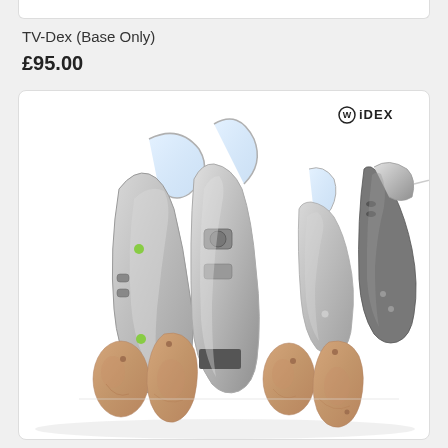TV-Dex (Base Only)
£95.00
[Figure (photo): Product photo showing multiple Widex hearing aids in silver/grey colors and ear molds in skin tone/beige color, with the Widex brand logo in top right corner of the image.]